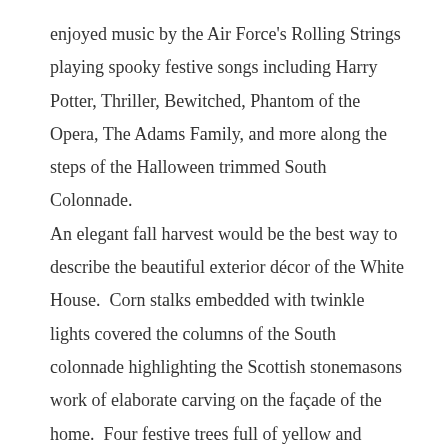enjoyed music by the Air Force's Rolling Strings playing spooky festive songs including Harry Potter, Thriller, Bewitched, Phantom of the Opera, The Adams Family, and more along the steps of the Halloween trimmed South Colonnade.

An elegant fall harvest would be the best way to describe the beautiful exterior décor of the White House.  Corn stalks embedded with twinkle lights covered the columns of the South colonnade highlighting the Scottish stonemasons work of elaborate carving on the façade of the home.  Four festive trees full of yellow and orange colored leaves cascaded down the steps alongside the Air Force string players.  Flanking the door and expanding across the base of the entrance were haystacks and hundreds of beautifully placed orange, white and green